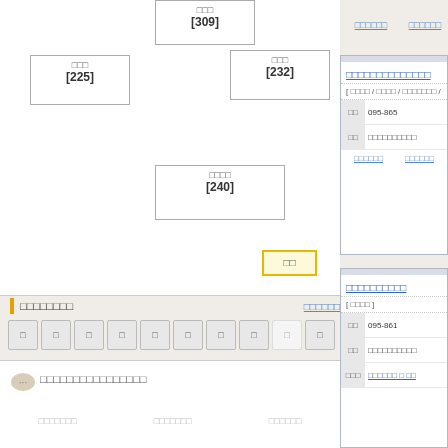[Figure (flowchart): Flowchart with boxes showing [225], [309], [232], [240] connected by lines]
□□□□□□□□
Tab buttons row
[Figure (other): Chat section with icon and title □□□□□□□□□□□□□□□□]
□□□□□□□  □□□□□□□  □□□□□□
□□□□□□  □□□□□□
□□□□□□□□□□□□□□
[ □□□□ / □□□□ / □□□□□□□ /
□□  095-865
□□  □□□□□□□□□□
□□□□□□  □□□□□□
□□□□□□□□□□
[ □□□□ ]
□□  095-861
□□  □□□□□□□□□□
□□□  □□□□□□ □ □□